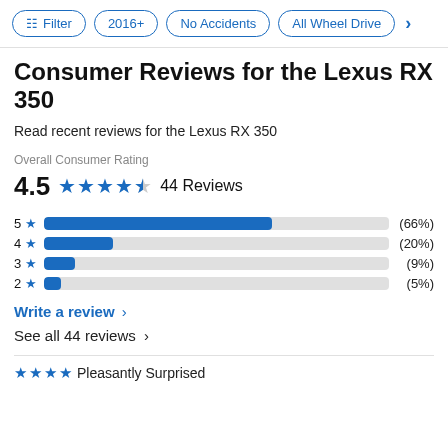Filter | 2016+ | No Accidents | All Wheel Drive
Consumer Reviews for the Lexus RX 350
Read recent reviews for the Lexus RX 350
Overall Consumer Rating
4.5 ★★★★½ 44 Reviews
[Figure (bar-chart): Star rating distribution]
Write a review >
See all 44 reviews >
★★★★ Pleasantly Surprised